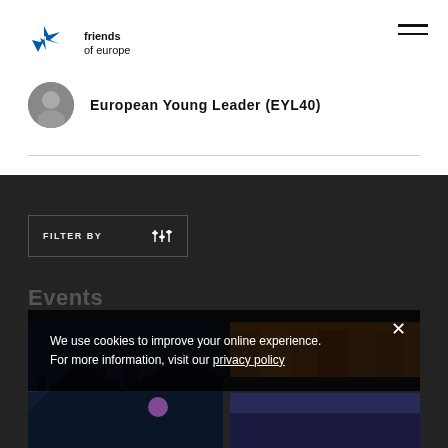[Figure (logo): Friends of Europe logo with blue star/arrow graphic and text 'friends of europe']
[Figure (other): Hamburger/menu icon (two horizontal lines) in top right]
European Young Leader (EYL40)
[Figure (other): FILTER BY button with sliders icon on dark background]
Events
We use cookies to improve your online experience.
For more information, visit our privacy policy
[Figure (photo): Event photo on dark blue background (night cityscape)]
[Figure (photo): Event photo on warm orange/brown background (city buildings)]